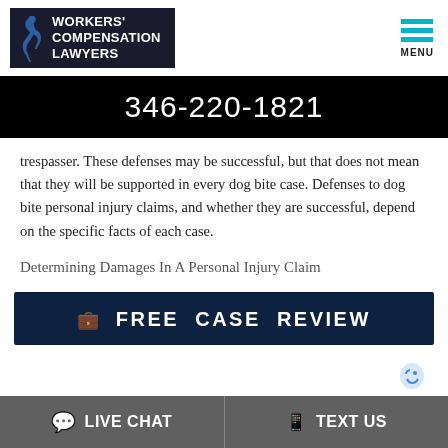[Figure (logo): Workers' Compensation Lawyers logo with dark background and figure icon]
[Figure (other): Menu hamburger icon with MENU label in teal/cyan lines]
346-220-1821
trespasser. These defenses may be successful, but that does not mean that they will be supported in every dog bite case. Defenses to dog bite personal injury claims, and whether they are successful, depend on the specific facts of each case.
Determining Damages In A Personal Injury Claim
[Figure (other): FREE CASE REVIEW button banner with briefcase icon on dark navy background]
LIVE CHAT   TEXT US